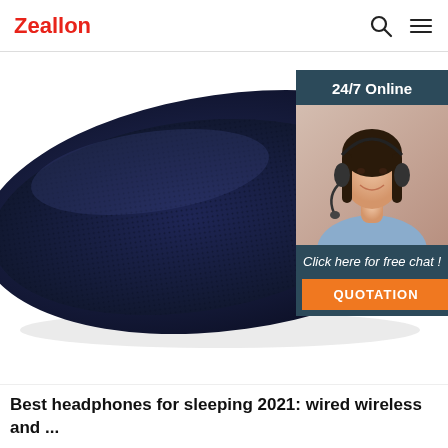Zeallon
[Figure (photo): Close-up photo of a dark navy blue pill-shaped Bluetooth speaker with a red circular button on top, photographed at an angle against a white background. Overlaid with a customer service chat widget in the upper right showing '24/7 Online', a photo of a smiling woman wearing a headset, 'Click here for free chat!' text, and an orange 'QUOTATION' button.]
Best headphones for sleeping 2021: wired wireless and ...